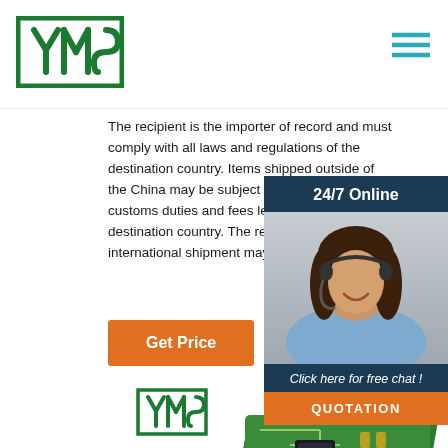[Figure (logo): YMS logo - green square border with YMS text in green]
[Figure (logo): Hamburger menu icon in teal/green color]
The recipient is the importer of record and must comply with all laws and regulations of the destination country. Items shipped outside of the China may be subject to import taxes, customs duties and fees levied by the destination country. The recipient of an international shipment may be subject ...
[Figure (photo): Customer support agent - woman wearing headset, smiling, with 24/7 Online label and chat box overlay]
[Figure (infographic): Get Price orange button]
[Figure (logo): YMS logo small at footer]
PCB
[Figure (photo): Green PCB circuit board image at bottom]